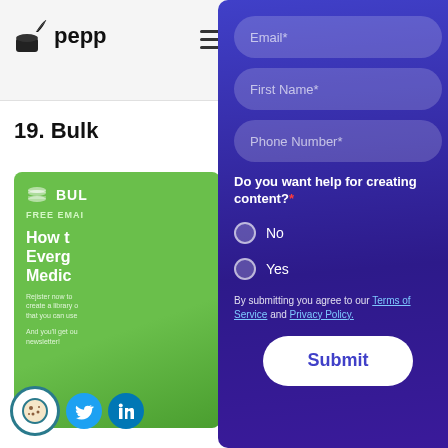[Figure (screenshot): Website header with pepper logo (ink bottle and quill icon) and 'pepp' text visible, plus hamburger menu icon]
19. Bulk
[Figure (illustration): Green promotional card with database icon, 'BUL' text, 'FREE EMAI' text, and heading 'How t... Everg... Medic...' with small body text]
[Figure (screenshot): Modal overlay form on purple/blue gradient background with Email, First Name, Phone Number fields, radio buttons for content help question, Terms of Service text, and Submit button]
Email*
First Name*
Phone Number*
Do you want help for creating content?*
No
Yes
By submitting you agree to our Terms of Service and Privacy Policy.
Submit